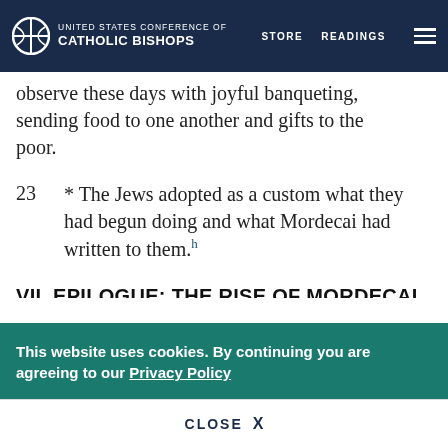United States Conference of Catholic Bishops — STORE  READINGS
observe these days with joyful banqueting, sending food to one another and gifts to the poor.
23 * The Jews adopted as a custom what they had begun doing and what Mordecai had written to them.h
VII. EPILOGUE: THE RISE OF MORDECAI
Summary of the Story.
This website uses cookies. By continuing you are agreeing to our Privacy Policy
CLOSE  X